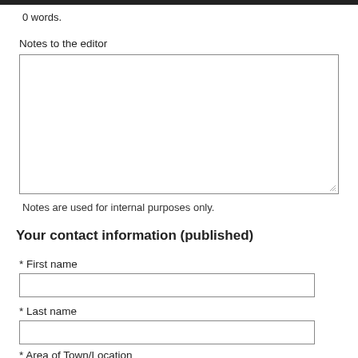0 words.
Notes to the editor
[Figure (other): Empty textarea input field for notes to the editor]
Notes are used for internal purposes only.
Your contact information (published)
* First name
[Figure (other): Empty text input field for first name]
* Last name
[Figure (other): Empty text input field for last name]
* Area of Town/Location
[Figure (other): Dropdown select field with label 'Select your area']